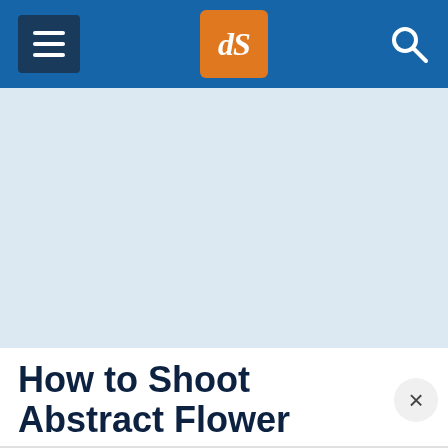dPS navigation bar with hamburger menu, dPS logo, and search icon
[Figure (other): Light blue advertisement banner placeholder area]
How to Shoot Abstract Flower Photography using Close-Up Filters